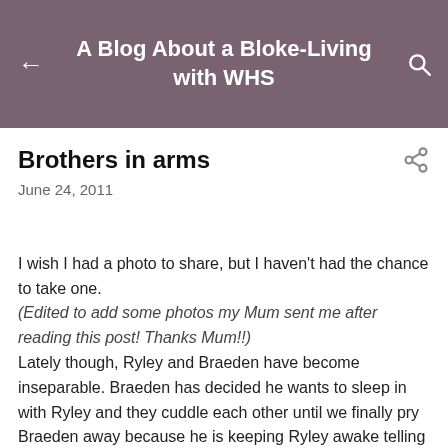A Blog About a Bloke-Living with WHS
Brothers in arms
June 24, 2011
I wish I had a photo to share, but I haven't had the chance to take one.
(Edited to add some photos my Mum sent me after reading this post! Thanks Mum!!)
Lately though, Ryley and Braeden have become inseparable. Braeden has decided he wants to sleep in with Ryley and they cuddle each other until we finally pry Braeden away because he is keeping Ryley awake telling him stories.
This morning, I had to walk away from Ryley as I